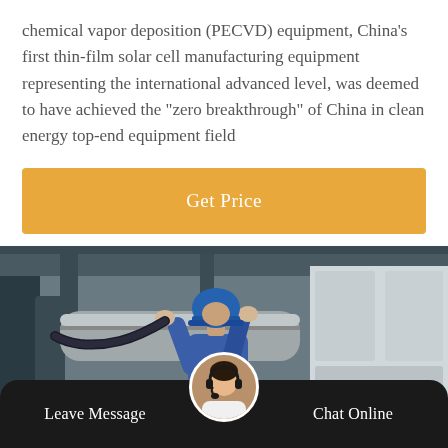chemical vapor deposition (PECVD) equipment, China's first thin-film solar cell manufacturing equipment representing the international advanced level, was deemed to have achieved the “zero breakthrough” of China in clean energy top-end equipment field
[Figure (other): Orange 'Get Price' button/banner]
[Figure (photo): Worker in blue hardhat and coveralls working on industrial equipment/piping overhead in a facility]
Leave Message   Chat Online